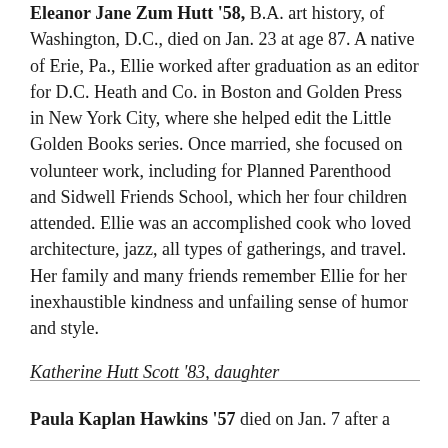Eleanor Jane Zum Hutt '58, B.A. art history, of Washington, D.C., died on Jan. 23 at age 87. A native of Erie, Pa., Ellie worked after graduation as an editor for D.C. Heath and Co. in Boston and Golden Press in New York City, where she helped edit the Little Golden Books series. Once married, she focused on volunteer work, including for Planned Parenthood and Sidwell Friends School, which her four children attended. Ellie was an accomplished cook who loved architecture, jazz, all types of gatherings, and travel. Her family and many friends remember Ellie for her inexhaustible kindness and unfailing sense of humor and style.
Katherine Hutt Scott '83, daughter
Paula Kaplan Hawkins '57 died on Jan. 7 after a